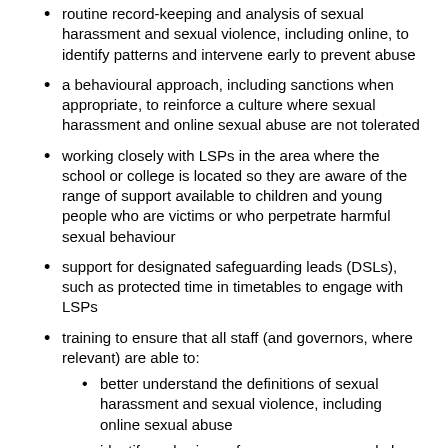routine record-keeping and analysis of sexual harassment and sexual violence, including online, to identify patterns and intervene early to prevent abuse
a behavioural approach, including sanctions when appropriate, to reinforce a culture where sexual harassment and online sexual abuse are not tolerated
working closely with LSPs in the area where the school or college is located so they are aware of the range of support available to children and young people who are victims or who perpetrate harmful sexual behaviour
support for designated safeguarding leads (DSLs), such as protected time in timetables to engage with LSPs
training to ensure that all staff (and governors, where relevant) are able to:
better understand the definitions of sexual harassment and sexual violence, including online sexual abuse
identify early signs of peer-on-peer sexual abuse
consistently uphold standards in their responses to sexual harassment and online sexual abuse
Recommendations for multi-agency partners